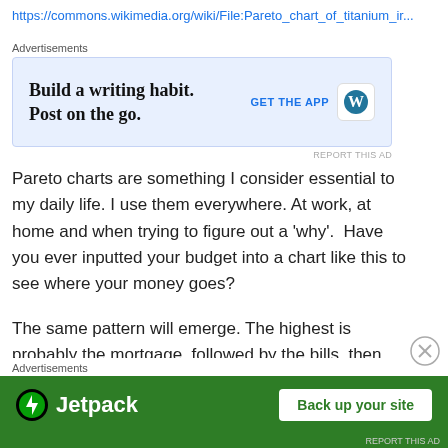https://commons.wikimedia.org/wiki/File:Pareto_chart_of_titanium_ir...
Advertisements
[Figure (other): WordPress ad banner: 'Build a writing habit. Post on the go.' with GET THE APP button and WordPress logo]
Pareto charts are something I consider essential to my daily life. I use them everywhere. At work, at home and when trying to figure out a 'why'.  Have you ever inputted your budget into a chart like this to see where your money goes?
The same pattern will emerge. The highest is probably the mortgage, followed by the bills, then clothing, food, entertaining etc. How does this help you though? Well just like an engineer in a production plant trying to reduce
Advertisements
[Figure (other): Jetpack ad banner: Jetpack logo with 'Back up your site' button on green background]